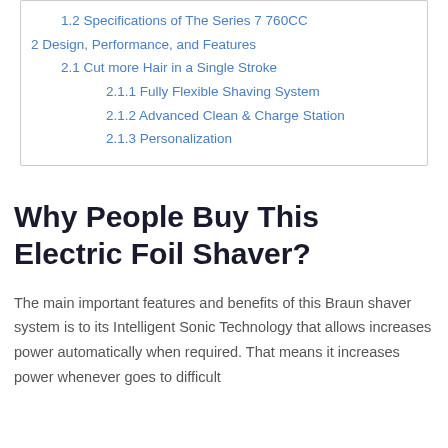1.2 Specifications of The Series 7 760CC
2 Design, Performance, and Features
2.1 Cut more Hair in a Single Stroke
2.1.1 Fully Flexible Shaving System
2.1.2 Advanced Clean & Charge Station
2.1.3 Personalization
Why People Buy This Electric Foil Shaver?
The main important features and benefits of this Braun shaver system is to its Intelligent Sonic Technology that allows increases power automatically when required. That means it increases power whenever goes to difficult